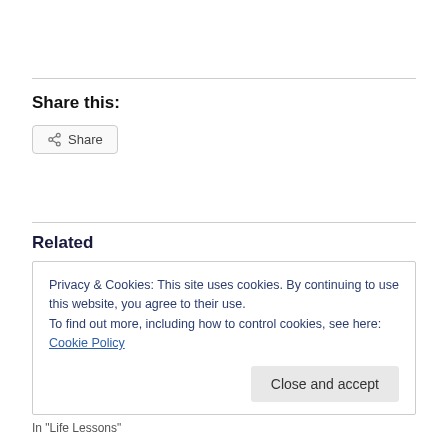Share this:
Share
Related
Privacy & Cookies: This site uses cookies. By continuing to use this website, you agree to their use.
To find out more, including how to control cookies, see here: Cookie Policy
Close and accept
In "Life Lessons"